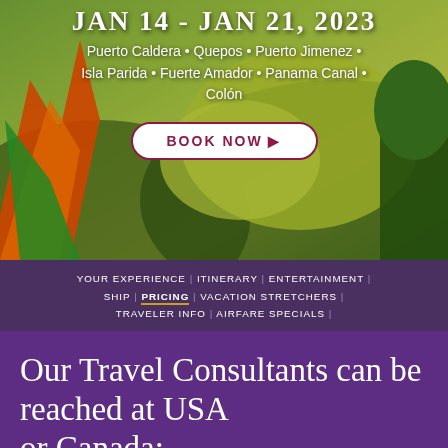[Figure (photo): Tropical forest landscape with colorful foliage — orange, yellow, and green plants against a green hillside background]
JAN 14 - JAN 21, 2023
Puerto Caldera • Quepos • Puerto Jimenez • Isla Parida • Fuerte Amador • Panama Canal • Colón
BOOK NOW ▶
YOUR EXPERIENCE | ITINERARY | ENTERTAINMENT | SHIP | PRICING | VACATION STRETCHERS | TRAVELER INFO | AIRFARE SPECIALS |
Our Travel Consultants can be reached at USA or Canada: